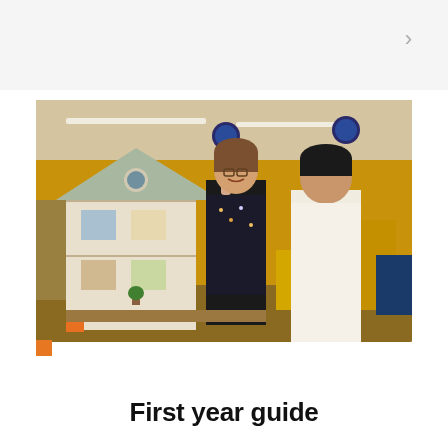[Figure (photo): Two students in a workshop/makerspace lab — a smiling woman in a black patterned top holding up the roof of a detailed multi-story dollhouse model, and a man in a white shirt looking at the model. The background shows a bright industrial workshop with overhead lights and yellow equipment.]
First year guide